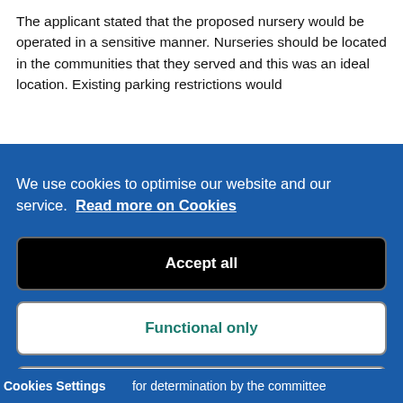The applicant stated that the proposed nursery would be operated in a sensitive manner. Nurseries should be located in the communities that they served and this was an ideal location. Existing parking restrictions would
We use cookies to optimise our website and our service.  Read more on Cookies
Accept all
Functional only
Cookies preferences
Cookies Settings  for determination by the committee